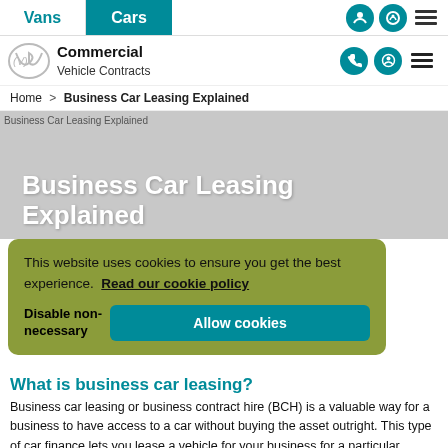Vans | Cars
[Figure (logo): Commercial Vehicle Contracts logo with stylized V icon]
Home > Business Car Leasing Explained
[Figure (photo): Business Car Leasing Explained hero image with title text overlay]
This website uses cookies to ensure you get the best experience. Read our cookie policy
What is business car leasing?
Business car leasing or business contract hire (BCH) is a valuable way for a business to have access to a car without buying the asset outright. This type of car finance lets you lease a vehicle for your business for a particular number of months (according to the agreement). And eventually, return it